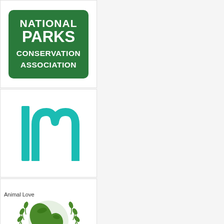[Figure (logo): National Parks Conservation Association logo - green rounded rectangle with white text reading NATIONAL PARKS CONSERVATION ASSOCIATION]
[Figure (logo): 1m logo - teal/cyan colored numeral 1 and letter m on white background]
[Figure (logo): Greenpeace logo - green globe with human footprint continents surrounded by olive/laurel wreath, with GREENPEACE text below]
Animal Love
[Figure (logo): Partial logo at bottom - circular badge partially visible]